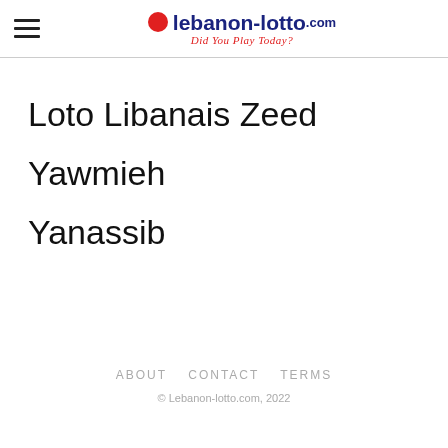lebanon-lotto.com — Did You Play Today?
Loto Libanais Zeed
Yawmieh
Yanassib
ABOUT   CONTACT   TERMS
© Lebanon-lotto.com, 2022